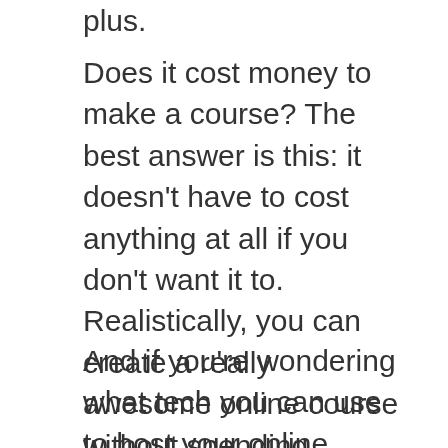plus.
Does it cost money to make a course? The best answer is this: it doesn't have to cost anything at all if you don't want it to. Realistically, you can create a really awesome online course without spending anything but your time. So don't let money stop you from pursuing this option.
And if you're wondering what tech you can use to host your online course, I love using this (and you can use it for free)